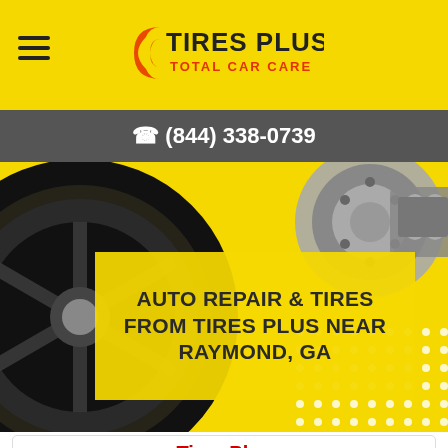Tires Plus Total Car Care
(844) 338-0739
[Figure (photo): Hero image showing a black alloy wheel/tire on the left and a brake disc/caliper on the right, with a yellow background and white dot pattern in the bottom right corner]
AUTO REPAIR & TIRES FROM TIRES PLUS NEAR RAYMOND, GA
Tires Plus
510 Ga-34 E
Newnan, GA 30265
Hours Today: 8:00 am to 5:00 pm